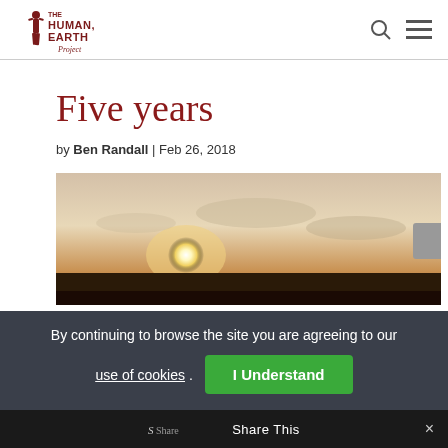The Human Earth Project
Five years
by Ben Randall | Feb 26, 2018
[Figure (photo): Sunset landscape photo with glowing sun near horizon, clouds in warm sky, dark foreground band]
By continuing to browse the site you are agreeing to our use of cookies. I Understand
Share This